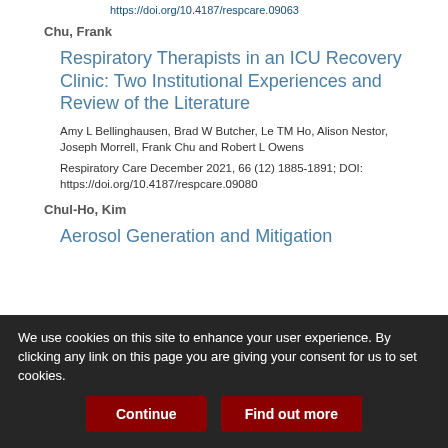https://doi.org/10.4187/respcare.09063
Chu, Frank
Respiratory Therapists in an ICU Recovery Clinic: Two Institutional Experiences and Review of the Literature
Amy L Bellinghausen, Brad W Butcher, Le TM Ho, Alison Nestor, Joseph Morrell, Frank Chu and Robert L Owens
Respiratory Care December 2021, 66 (12) 1885-1891; DOI: https://doi.org/10.4187/respcare.09080
Chul-Ho, Kim
Aerosol Generation and Mitigation
We use cookies on this site to enhance your user experience. By clicking any link on this page you are giving your consent for us to set cookies.